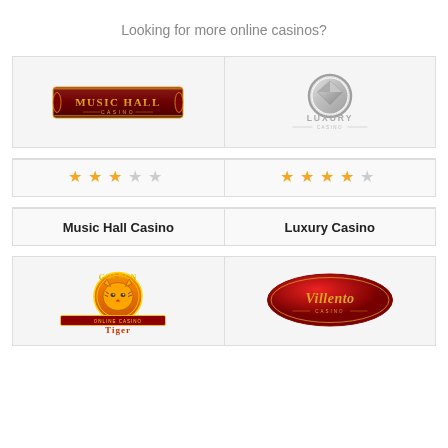Looking for more online casinos?
[Figure (logo): Music Hall Casino logo - dark red banner with gold text]
[Figure (logo): Luxury Casino logo - silver diamond emblem with grey text]
★★★☆☆ (3 stars)
★★★★★☆ (4.5 stars)
Music Hall Casino
Luxury Casino
[Figure (logo): Golden Tiger Casino logo - orange and gold tiger design]
[Figure (logo): Villento Casino logo - red oval with gold script text]